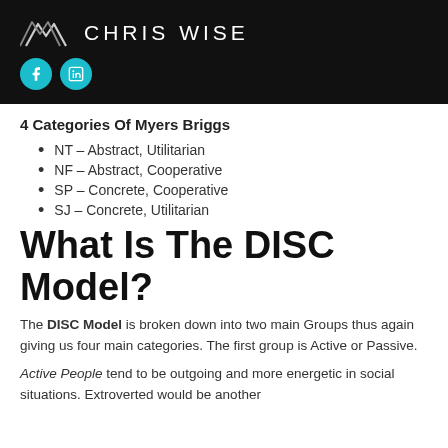CHRIS WISE
4 Categories Of Myers Briggs
NT – Abstract, Utilitarian
NF – Abstract, Cooperative
SP – Concrete, Cooperative
SJ – Concrete, Utilitarian
What Is The DISC Model?
The DISC Model is broken down into two main Groups thus again giving us four main categories. The first group is Active or Passive.
Active People tend to be outgoing and more energetic in social situations. Extroverted would be another